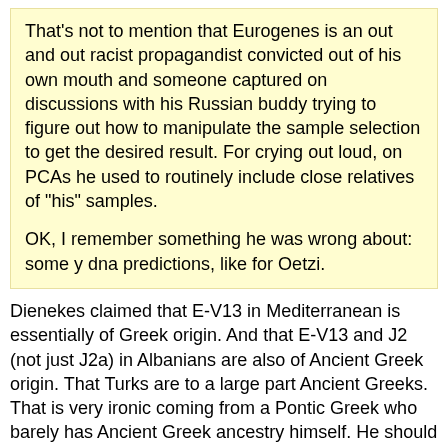That's not to mention that Eurogenes is an out and out racist propagandist convicted out of his own mouth and someone captured on discussions with his Russian buddy trying to figure out how to manipulate the sample selection to get the desired result. For crying out loud, on PCAs he used to routinely include close relatives of "his" samples.

OK, I remember something he was wrong about: some y dna predictions, like for Oetzi.
Dienekes claimed that E-V13 in Mediterranean is essentially of Greek origin. And that E-V13 and J2 (not just J2a) in Albanians are also of Ancient Greek origin. That Turks are to a large part Ancient Greeks. That is very ironic coming from a Pontic Greek who barely has Ancient Greek ancestry himself. He should know better as a Pontic Greek. This for starters completely knocks him out for me. It's done for me.
Davidski does not have this type of "bias".
Can name something similar about Davidski?
I am not really a follower of pre-history genetics or where Davidski disagreed but I do know that Davidski has a very